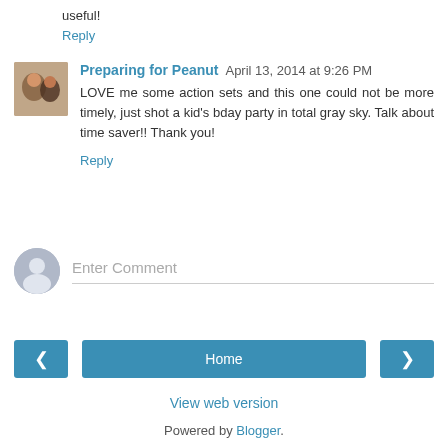useful!
Reply
Preparing for Peanut  April 13, 2014 at 9:26 PM
LOVE me some action sets and this one could not be more timely, just shot a kid's bday party in total gray sky. Talk about time saver!! Thank you!
Reply
Enter Comment
Home
View web version
Powered by Blogger.